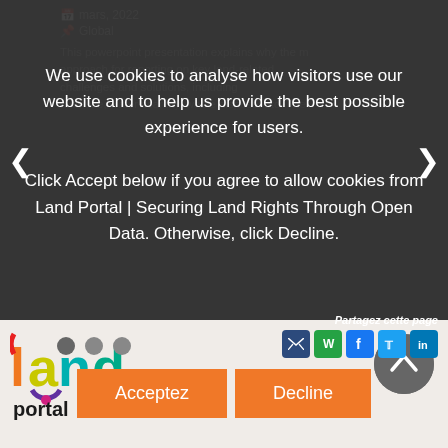mars, 2022
Global
This powerpoint presentation explains why the m approach for reporting on key land-related challenges and solutions, including land use, water scarcity, waste disposal etc. The
We use cookies to analyse how visitors use our website and to help us provide the best possible experience for users.

Click Accept below if you agree to allow cookies from Land Portal | Securing Land Rights Through Open Data. Otherwise, click Decline.
Partagez cette page
Acceptez
Decline
[Figure (logo): Land Portal colorful logo with 'land' in multicolor letters and 'portal' in black below]
[Figure (other): Back to top circular button with upward chevron arrow]